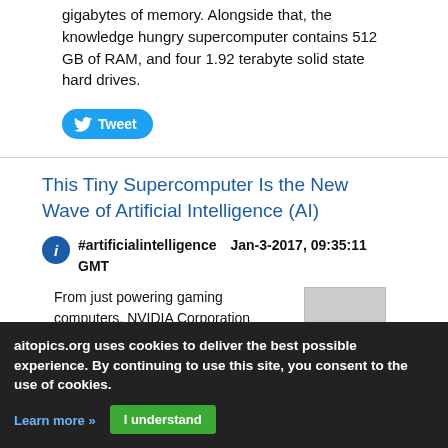gigabytes of memory. Alongside that, the knowledge hungry supercomputer contains 512 GB of RAM, and four 1.92 terabyte solid state hard drives.
[Figure (other): Twitter Tweet button with bird logo]
This Tiny Supercomputer Is the New Wave of Artificial Intelligence (AI)
#artificialintelligence    Jan-3-2017, 09:35:11 GMT
From just powering gaming computers, NVIDIA Corporation (NASDAQ:NVDA) has advanced its GPU business to focusing the use of its technology to power advanced machine technologies,
[Figure (photo): Gray placeholder image thumbnail]
aitopics.org uses cookies to deliver the best possible experience. By continuing to use this site, you consent to the use of cookies.